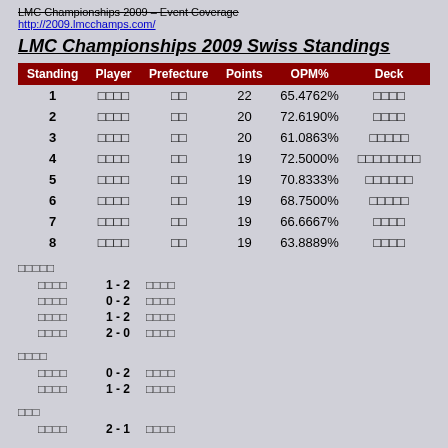LMC Championships 2009 – Event Coverage http://2009.lmcchamps.com/
LMC Championships 2009 Swiss Standings
| Standing | Player | Prefecture | Points | OPM% | Deck |
| --- | --- | --- | --- | --- | --- |
| 1 | □□□□ | □□ | 22 | 65.4762% | □□□□ |
| 2 | □□□□ | □□ | 20 | 72.6190% | □□□□ |
| 3 | □□□□ | □□ | 20 | 61.0863% | □□□□□ |
| 4 | □□□□ | □□ | 19 | 72.5000% | □□□□□□□□ |
| 5 | □□□□ | □□ | 19 | 70.8333% | □□□□□□ |
| 6 | □□□□ | □□ | 19 | 68.7500% | □□□□□ |
| 7 | □□□□ | □□ | 19 | 66.6667% | □□□□ |
| 8 | □□□□ | □□ | 19 | 63.8889% | □□□□ |
□□□□□
□□□□ 1 - 2 □□□□
□□□□ 0 - 2 □□□□
□□□□ 1 - 2 □□□□
□□□□ 2 - 0 □□□□
□□□□
□□□□ 0 - 2 □□□□
□□□□ 1 - 2 □□□□
□□□
□□□□ 2 - 1 □□□□